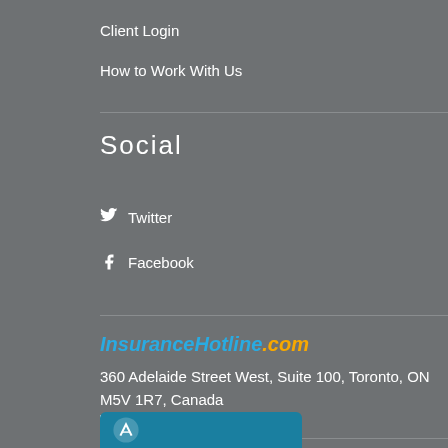Client Login
How to Work With Us
Social
Twitter
Facebook
InsuranceHotline.com
360 Adelaide Street West, Suite 100, Toronto, ON M5V 1R7, Canada
1-855-821-7312
[Figure (logo): InsuranceHotline.com logo with teal background and white icon]